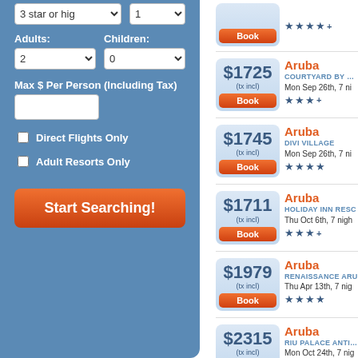Adults: Children:
Max $ Per Person (Including Tax)
Direct Flights Only
Adult Resorts Only
Start Searching!
$1725 (tx incl) | Aruba | COURTYARD BY MA... | Mon Sep 26th, 7 ni... | 3.5 stars
$1745 (tx incl) | Aruba | DIVI VILLAGE | Mon Sep 26th, 7 ni... | 4 stars
$1711 (tx incl) | Aruba | HOLIDAY INN RESO... | Thu Oct 6th, 7 nigh... | 3.5 stars
$1979 (tx incl) | Aruba | RENAISSANCE ARU... | Thu Apr 13th, 7 nig... | 4 stars
$2315 (tx incl) | Aruba | RIU PALACE ANTILL... | Mon Oct 24th, 7 nig... | 5 stars